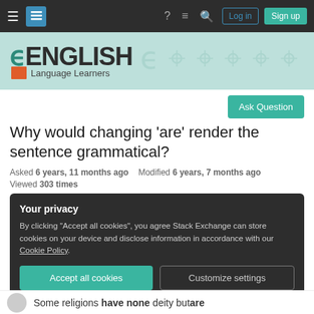English Language Learners - Stack Exchange navigation bar
[Figure (screenshot): English Language Learners Stack Exchange site header banner with logo]
Ask Question
Why would changing 'are' render the sentence grammatical?
Asked 6 years, 11 months ago   Modified 6 years, 7 months ago
Viewed 303 times
Your privacy
By clicking "Accept all cookies", you agree Stack Exchange can store cookies on your device and disclose information in accordance with our Cookie Policy.
Accept all cookies   Customize settings
Some religions have none deity but are